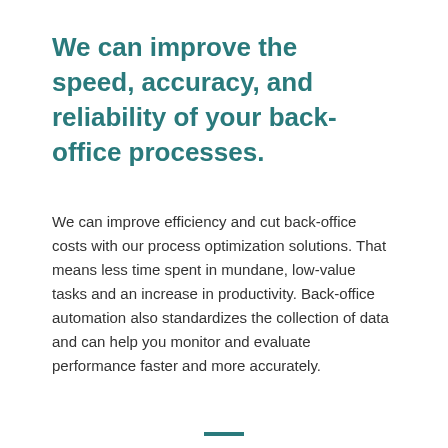We can improve the speed, accuracy, and reliability of your back-office processes.
We can improve efficiency and cut back-office costs with our process optimization solutions. That means less time spent in mundane, low-value tasks and an increase in productivity. Back-office automation also standardizes the collection of data and can help you monitor and evaluate performance faster and more accurately.